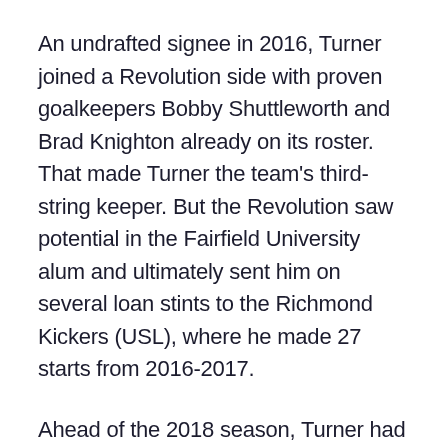An undrafted signee in 2016, Turner joined a Revolution side with proven goalkeepers Bobby Shuttleworth and Brad Knighton already on its roster. That made Turner the team's third-string keeper. But the Revolution saw potential in the Fairfield University alum and ultimately sent him on several loan stints to the Richmond Kickers (USL), where he made 27 starts from 2016-2017.
Ahead of the 2018 season, Turner had apparently grown tired of making the trip to Richmond. The New Jersey native turned in a strong preseason and, with the support of first-year head coach Brad Friedel, started the team's season opener against the Philadelphia Union. Turner hasn't looked back since. And now, the Revolution have no intention of sending